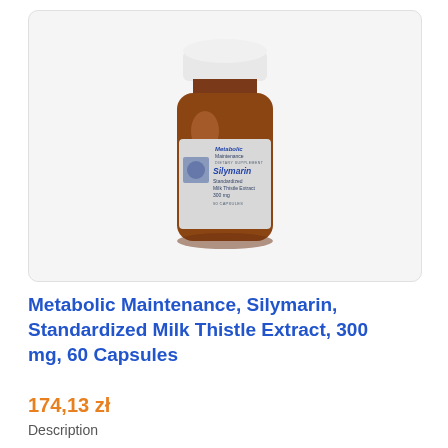[Figure (photo): Amber glass supplement bottle with white cap, labeled 'Metabolic Maintenance Silymarin Standardized Milk Thistle Extract 300 mg 90 Capsules', displayed on a light gray background.]
Metabolic Maintenance, Silymarin, Standardized Milk Thistle Extract, 300 mg, 60 Capsules
174,13 zł
Description